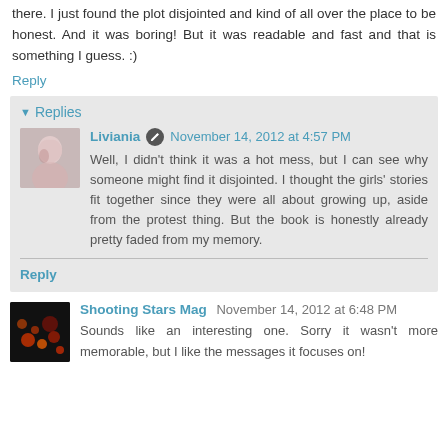there. I just found the plot disjointed and kind of all over the place to be honest. And it was boring! But it was readable and fast and that is something I guess. :)
Reply
Replies
Liviania  November 14, 2012 at 4:57 PM
Well, I didn't think it was a hot mess, but I can see why someone might find it disjointed. I thought the girls' stories fit together since they were all about growing up, aside from the protest thing. But the book is honestly already pretty faded from my memory.
Reply
Shooting Stars Mag  November 14, 2012 at 6:48 PM
Sounds like an interesting one. Sorry it wasn't more memorable, but I like the messages it focuses on!